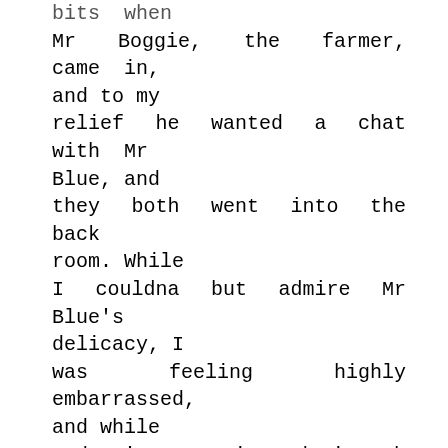bits  when Mr Boggie, the farmer, came in, and to my relief he wanted a chat with Mr Blue, and they both went into the back room. While I couldna but admire Mr Blue's delicacy, I was feeling highly embarrassed, and while Andrew's attentions during the last few weeks hadna been entirely unwelcome, I felt that it was time they stopped—so far as the P.O. was concerned. So that evening, after explaining to